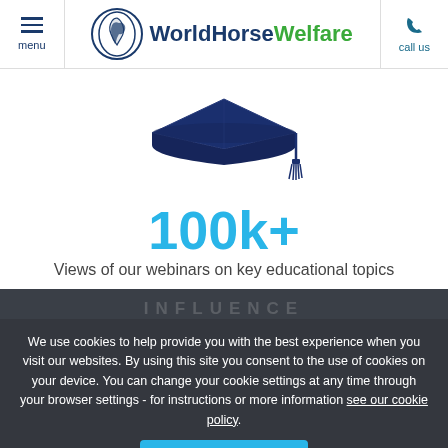menu | WorldHorseWelfare | call us
[Figure (illustration): Dark navy graduation cap icon]
100k+
Views of our webinars on key educational topics
INFLUENCE
We use cookies to help provide you with the best experience when you visit our websites. By using this site you consent to the use of cookies on your device. You can change your cookie settings at any time through your browser settings - for instructions or more information see our cookie policy.
I AGREE